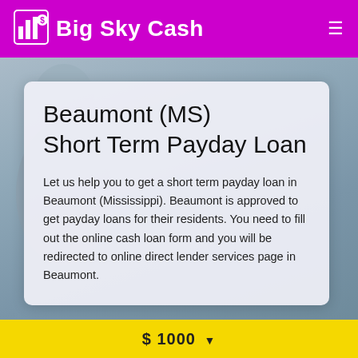Big Sky Cash
Beaumont (MS) Short Term Payday Loan
Let us help you to get a short term payday loan in Beaumont (Mississippi). Beaumont is approved to get payday loans for their residents. You need to fill out the online cash loan form and you will be redirected to online direct lender services page in Beaumont.
$ 1000